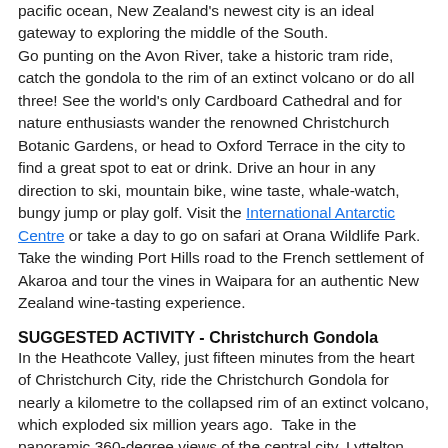pacific ocean, New Zealand's newest city is an ideal gateway to exploring the middle of the South. Go punting on the Avon River, take a historic tram ride, catch the gondola to the rim of an extinct volcano or do all three! See the world's only Cardboard Cathedral and for nature enthusiasts wander the renowned Christchurch Botanic Gardens, or head to Oxford Terrace in the city to find a great spot to eat or drink. Drive an hour in any direction to ski, mountain bike, wine taste, whale-watch, bungy jump or play golf. Visit the International Antarctic Centre or take a day to go on safari at Orana Wildlife Park. Take the winding Port Hills road to the French settlement of Akaroa and tour the vines in Waipara for an authentic New Zealand wine-tasting experience.
SUGGESTED ACTIVITY - Christchurch Gondola
In the Heathcote Valley, just fifteen minutes from the heart of Christchurch City, ride the Christchurch Gondola for nearly a kilometre to the collapsed rim of an extinct volcano, which exploded six million years ago.  Take in the panoramic 360-degree views of the central city, Lyttelton Harbour, Banks Peninsula, Canterbury Plains and the distant peaks of the Southern Alps.  Wander the summit complex and choose one of many nature walks or visit the Time Tunnel, a dramatic reconstruction of the history of the Port